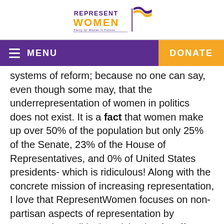[Figure (logo): RepresentWomen logo with orange 'WOMEN' text, purple 'REPRESENT' text, and tagline 'Parity for Women in Politics' with decorative wave element]
MENU   DONATE
systems of reform; because no one can say, even though some may, that the underrepresentation of women in politics does not exist. It is a fact that women make up over 50% of the population but only 25% of the Senate, 23% of the House of Representatives, and 0% of United States presidents- which is ridiculous! Along with the concrete mission of increasing representation, I love that RepresentWomen focuses on non-partisan aspects of representation by encouraging political participation for all women regardless of party-affiliation.